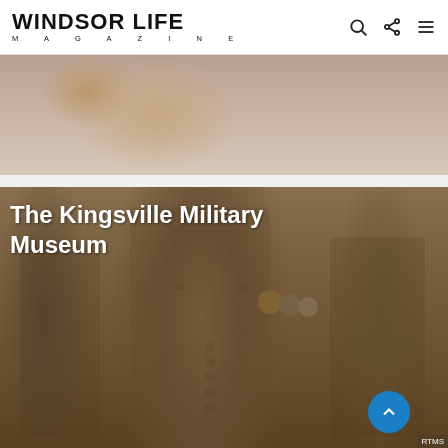WINDSOR LIFE MAGAZINE
[Figure (photo): Partial photo of a woman with blonde hair, cropped showing shoulders and hair only]
[Figure (photo): Photo of WWI/WWII era military uniforms on mannequins, showing khaki jackets with medals and chevrons, displayed in a museum setting]
The Kingsville Military Museum